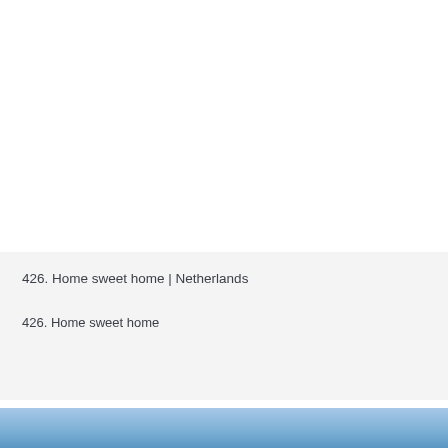[Figure (photo): White blank/empty area at top of page]
426. Home sweet home | Netherlands
426. Home sweet home
[Figure (photo): Light blue sky photograph at bottom of page]